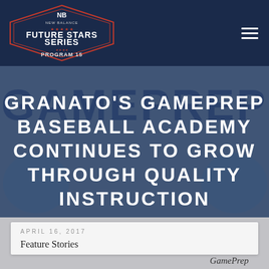Future Stars Series
[Figure (logo): New Balance Future Stars Series Program 15 logo in white on dark navy background]
GRANATO'S GAMEPREP BASEBALL ACADEMY CONTINUES TO GROW THROUGH QUALITY INSTRUCTION
[Figure (photo): Background photo showing GamePrep text and baseball imagery with blue tones]
APRIL 16, 2017
Feature Stories
GamePrep